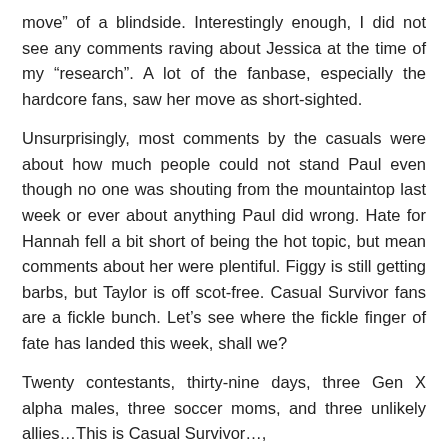move” of a blindside. Interestingly enough, I did not see any comments raving about Jessica at the time of my “research”. A lot of the fanbase, especially the hardcore fans, saw her move as short-sighted.
Unsurprisingly, most comments by the casuals were about how much people could not stand Paul even though no one was shouting from the mountaintop last week or ever about anything Paul did wrong. Hate for Hannah fell a bit short of being the hot topic, but mean comments about her were plentiful. Figgy is still getting barbs, but Taylor is off scot-free. Casual Survivor fans are a fickle bunch. Let’s see where the fickle finger of fate has landed this week, shall we?
Twenty contestants, thirty-nine days, three Gen X alpha males, three soccer moms, and three unlikely allies…This is Casual Survivor…,
Jeff really is beating this theme to death and delighting in doing so. Given his views on the spelling of “you” in text